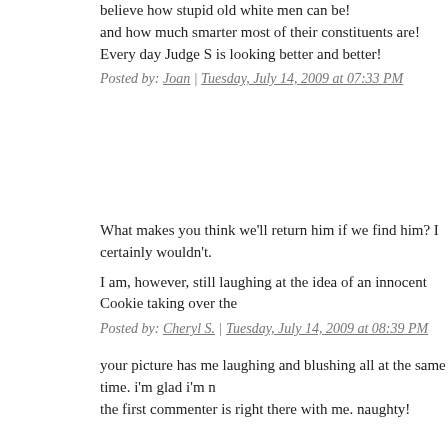believe how stupid old white men can be!
and how much smarter most of their constituents are!
Every day Judge S is looking better and better!
Posted by: Joan | Tuesday, July 14, 2009 at 07:33 PM
What makes you think we’ll return him if we find him? I certainly wouldn’t.

I am, however, still laughing at the idea of an innocent Cookie taking over the
Posted by: Cheryl S. | Tuesday, July 14, 2009 at 08:39 PM
your picture has me laughing and blushing all at the same time. i'm glad i'm n
the first commenter is right there with me. naughty!
Posted by: opal | Tuesday, July 14, 2009 at 08:59 PM
So I open your post and see a picture of some tree bark and moss and think
post." THEN I get to the comments and realize I did it again: read your blog b

I'll never look at a tree the same way again.

The old white men know Justice S. is going to be appointed and there is noth
think it's a fine payback for all the years of patronizing crap we've put up with
Posted by: Diane | Wednesday, July 15, 2009 at 01:59 AM